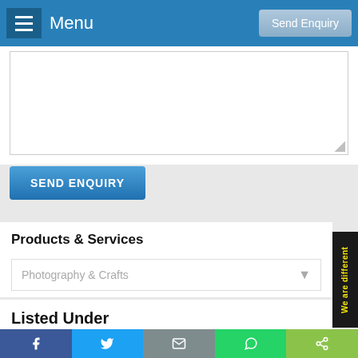Menu | Send Enquiry
[Figure (screenshot): Textarea input field for enquiry message]
SEND ENQUIRY
Products & Services
Photography & Crafts
Listed Under
Photographer - Still Or Video
Wedding Photographers
Facebook | Twitter | Email | WhatsApp | Share